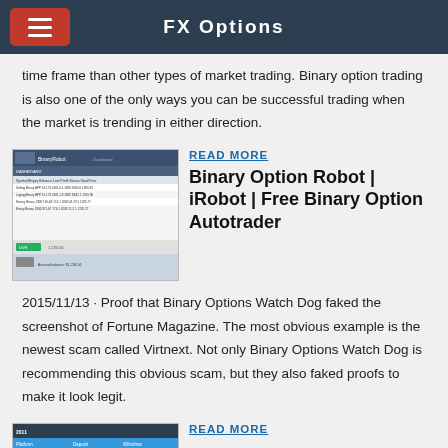FX Options
time frame than other types of market trading. Binary option trading is also one of the only ways you can be successful trading when the market is trending in either direction.
[Figure (screenshot): Screenshot of a binary options trading dashboard interface]
READ MORE
Binary Option Robot | iRobot | Free Binary Option Autotrader
2015/11/13 · Proof that Binary Options Watch Dog faked the screenshot of Fortune Magazine. The most obvious example is the newest scam called Virtnext. Not only Binary Options Watch Dog is recommending this obvious scam, but they also faked proofs to make it look legit.
[Figure (screenshot): Screenshot of another binary options platform]
READ MORE